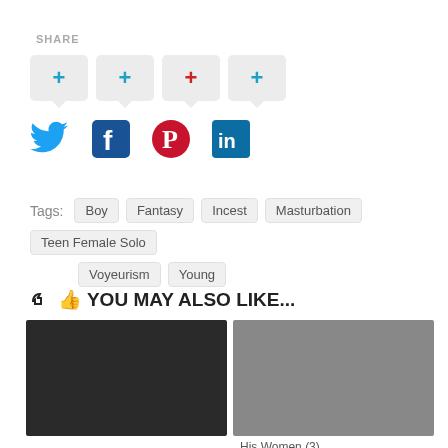SHARE
[Figure (infographic): Four social share buttons with + icons (blue, blue, red, blue) with speech bubble tails, and below them Twitter, Facebook, Pinterest, LinkedIn icons]
Tags: Boy  Fantasy  Incest  Masturbation  Teen Female Solo  Voyeurism  Young
YOU MAY ALSO LIKE...
[Figure (photo): Two thumbnail images side by side - left is a color photo, right is a black and white photo]
His Women (3)